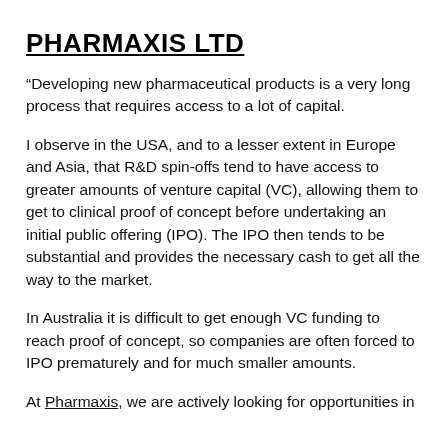PHARMAXIS LTD
“Developing new pharmaceutical products is a very long process that requires access to a lot of capital.
I observe in the USA, and to a lesser extent in Europe and Asia, that R&D spin-offs tend to have access to greater amounts of venture capital (VC), allowing them to get to clinical proof of concept before undertaking an initial public offering (IPO). The IPO then tends to be substantial and provides the necessary cash to get all the way to the market.
In Australia it is difficult to get enough VC funding to reach proof of concept, so companies are often forced to IPO prematurely and for much smaller amounts.
At Pharmaxis, we are actively looking for opportunities in